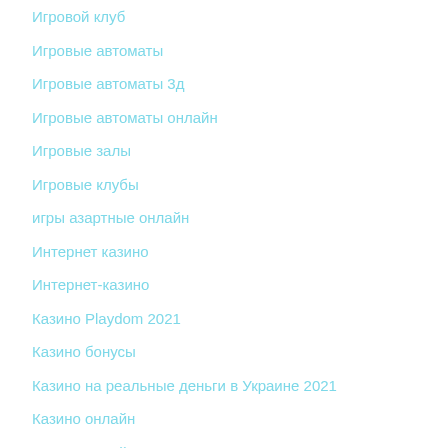Игровой клуб
Игровые автоматы
Игровые автоматы 3д
Игровые автоматы онлайн
Игровые залы
Игровые клубы
игры азартные онлайн
Интернет казино
Интернет-казино
Казино Playdom 2021
Казино бонусы
Казино на реальные деньги в Украине 2021
Казино онлайн
Казино онлайн в Украине